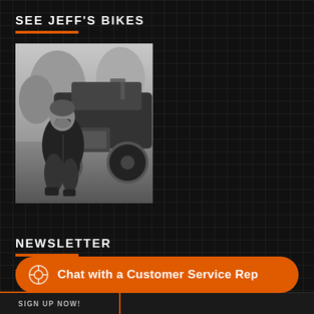SEE JEFF'S BIKES
[Figure (photo): Black and white photo of a man wearing sunglasses crouching next to a motorcycle outdoors]
NEWSLETTER
To receive the Slavens Racing email newsletter please signup.
Chat with a Customer Service Rep
SIGN UP NOW!